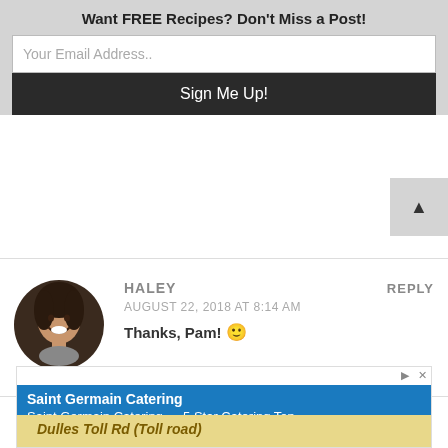Want FREE Recipes? Don't Miss a Post!
Your Email Address..
Sign Me Up!
[Figure (photo): Circular avatar photo of Haley, a woman with dark hair smiling]
HALEY
AUGUST 22, 2018 AT 8:14 AM
Thanks, Pam! 🙂
REPLY
[Figure (screenshot): Advertisement for Saint Germain Catering showing a map with Dulles Toll Rd (Toll road)]